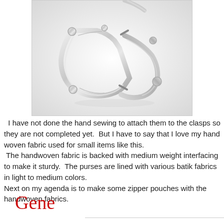[Figure (photo): A silver metal purse clasp frame photographed on a white background, open and showing its ornate design with ball feet and decorative edges.]
I have not done the hand sewing to attach them to the clasps so they are not completed yet.  But I have to say that I love my hand woven fabric used for small items like this.  The handwoven fabric is backed with medium weight interfacing to make it sturdy.  The purses are lined with various batik fabrics in light to medium colors. Next on my agenda is to make some zipper pouches with the handwoven fabrics.
[Figure (illustration): Handwritten signature reading 'Gene' in red cursive script.]